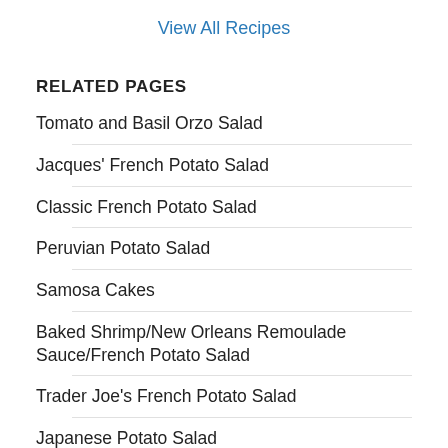View All Recipes
RELATED PAGES
Tomato and Basil Orzo Salad
Jacques' French Potato Salad
Classic French Potato Salad
Peruvian Potato Salad
Samosa Cakes
Baked Shrimp/New Orleans Remoulade Sauce/French Potato Salad
Trader Joe's French Potato Salad
Japanese Potato Salad
Ranch Chicken Pasta Salad